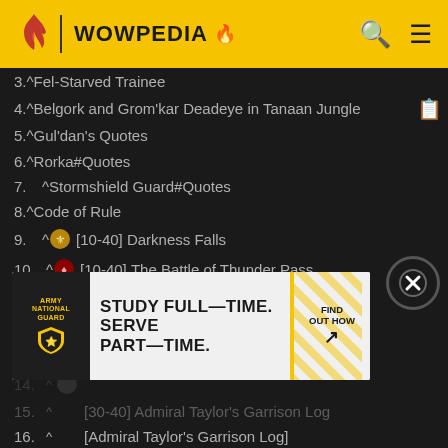WOWPEDIA
3.  ^ Fel-Starved Trainee
4.  ^ Belgork and Grom'kar Deadeye in Tanaan Jungle
5.  ^ Gul'dan's Quotes
6.  ^ Rorka#Quotes
7.  ^ Stormshield Guard#Quotes
8.  ^ Code of Rule
9.  ^ [Alliance] [10-40] Darkness Falls
10. ^ [Horde] [10-40] The Battle of Thunder Pass
11. ^ Strike While the Iron is Hot
12. ^ [Neutral] [20-40] The Battle for Shattrath
13. ^ [20-40] Destination: Unknown
14. ^
15. ^ [30-40] Admiral Taylor's Garrison Log
16. ^ [Admiral Taylor's Garrison Log]
17. ^ [30-40] Old Friends
[Figure (infographic): Army National Guard advertisement: STUDY FULL-TIME. SERVE PART-TIME. FIND OUT HOW with arrow. Yellow and white striped design.]